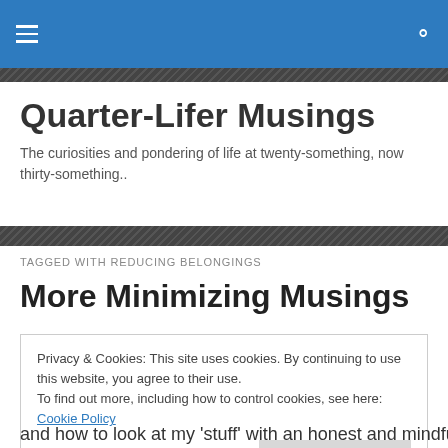Quarter-Lifer Musings — navigation bar
Quarter-Lifer Musings
The curiosities and pondering of life at twenty-something, now thirty-something..
TAGGED WITH REDUCING BELONGINGS
More Minimizing Musings
Privacy & Cookies: This site uses cookies. By continuing to use this website, you agree to their use.
To find out more, including how to control cookies, see here: Cookie Policy
Close and accept
and how to look at my 'stuff' with an honest and mindful